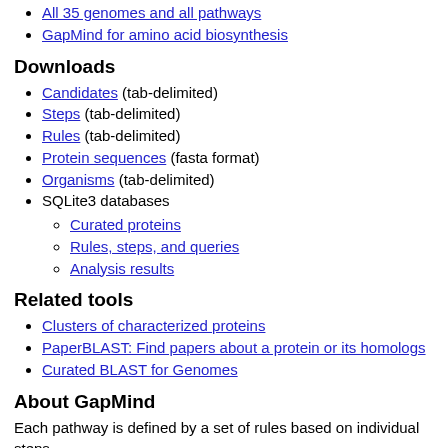All 35 genomes and all pathways
GapMind for amino acid biosynthesis
Downloads
Candidates (tab-delimited)
Steps (tab-delimited)
Rules (tab-delimited)
Protein sequences (fasta format)
Organisms (tab-delimited)
SQLite3 databases
Curated proteins
Rules, steps, and queries
Analysis results
Related tools
Clusters of characterized proteins
PaperBLAST: Find papers about a protein or its homologs
Curated BLAST for Genomes
About GapMind
Each pathway is defined by a set of rules based on individual steps